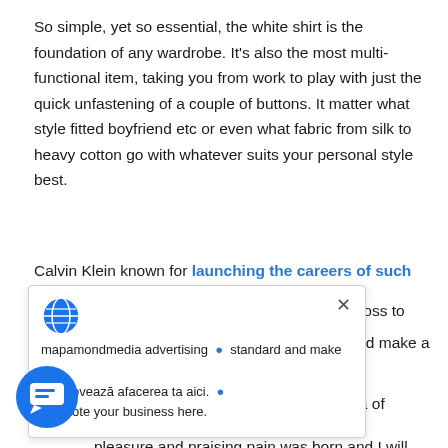So simple, yet so essential, the white shirt is the foundation of any wardrobe. It's also the most multi-functional item, taking you from work to play with just the quick unfastening of a couple of buttons. It matter what style fitted boyfriend etc or even what fabric from silk to heavy cotton go with whatever suits your personal style best.
Calvin Klein known for launching the careers of such and Kate Moss to cast a standard and make a nt years.
[Figure (screenshot): A browser popup/tooltip overlay showing a globe icon, a close (×) button, and text: 'mapamondmedia advertising · standard and make a · Promovează afacerea ta aici. · Promote your business here.' with blue linked text.]
must explain to you how all this mistaken idea of denouncing
pleasure and praising pain was born and I will give you a complete account
[Figure (illustration): A blue circular chat button icon in the bottom-left corner.]